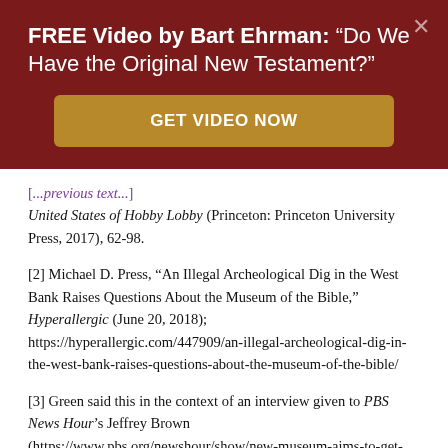FREE Video by Bart Ehrman: "Do We Have the Original New Testament?"
GET VIDEO NOW
United States of Hobby Lobby (Princeton: Princeton University Press, 2017), 62-98.
[2] Michael D. Press, “An Illegal Archeological Dig in the West Bank Raises Questions About the Museum of the Bible,” Hyperallergic (June 20, 2018); https://hyperallergic.com/447909/an-illegal-archeological-dig-in-the-west-bank-raises-questions-about-the-museum-of-the-bible/
[3] Green said this in the context of an interview given to PBS News Hour’s Jeffrey Brown (https://www.pbs.org/newshour/show/new-museum-aims-to-get-visitors-thi nking-about-the-bible).